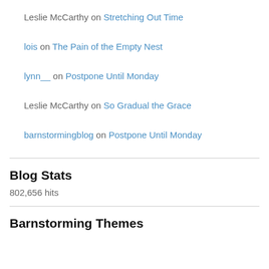Leslie McCarthy on Stretching Out Time
lois on The Pain of the Empty Nest
lynn__ on Postpone Until Monday
Leslie McCarthy on So Gradual the Grace
barnstormingblog on Postpone Until Monday
Blog Stats
802,656 hits
Barnstorming Themes